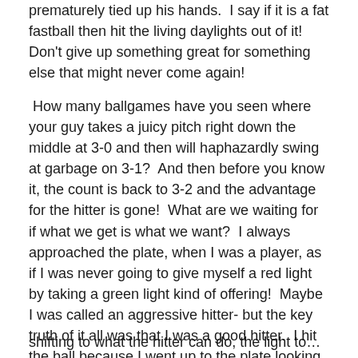prematurely tied up his hands.  I say if it is a fat fastball then hit the living daylights out of it!  Don't give up something great for something else that might never come again!
How many ballgames have you seen where your guy takes a juicy pitch right down the middle at 3-0 and then will haphazardly swing at garbage on 3-1?  And then before you know it, the count is back to 3-2 and the advantage for the hitter is gone!  What are we waiting for if what we get is what we want?  I always approached the plate, when I was a player, as if I was never going to give myself a red light by taking a green light kind of offering!  Maybe I was called an aggressive hitter- but the key truth of it all was that I was a good hitter.  I hit the ball because I went up to the plate looking to swing the bat!
shifting to what the hitter can do, the light to...